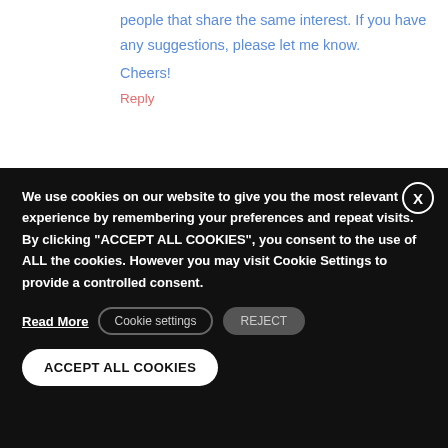people that share the same interest. If you have any suggestions, please let me know.
Cheers!
Reply
We use cookies on our website to give you the most relevant experience by remembering your preferences and repeat visits. By clicking “ACCEPT ALL COOKIES”, you consent to the use of ALL the cookies. However you may visit Cookie Settings to provide a controlled consent.
Read More
Cookie settings
REJECT
ACCEPT ALL COOKIES